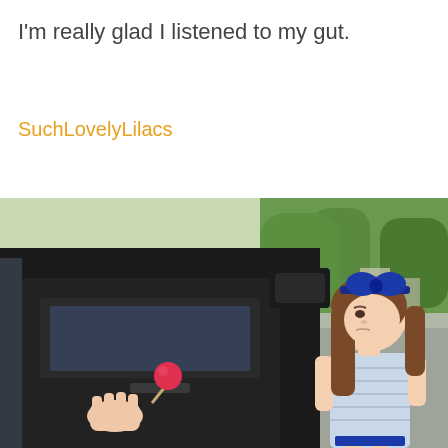I'm really glad I listened to my gut.
SuchLovelyLilacs
[Figure (photo): A young girl with long brown hair and a blue bow headband, wearing a light blue striped dress, standing on a street next to an open car door. An adult hand extends from inside the car holding a red lollipop toward the child.]